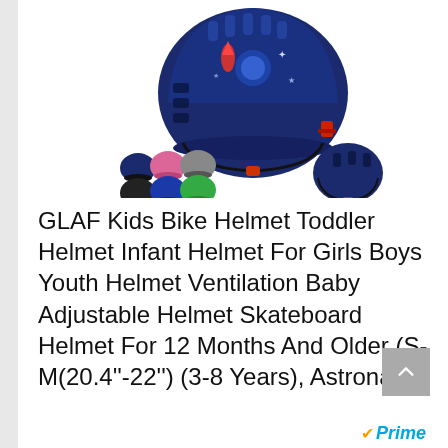[Figure (photo): Product photo of GLAF Kids Bike Helmet in navy blue Astronaut design, shown from side angle. Below the main helmet are small thumbnails showing multiple color variants (dark blue, pink, grey, dark, blue, green). To the right is a smaller rear-view of the same helmet.]
GLAF Kids Bike Helmet Toddler Helmet Infant Helmet For Girls Boys Youth Helmet Ventilation Baby Adjustable Helmet Skateboard Helmet For 12 Months And Older (S-M(20.4"-22") (3-8 Years), Astronaut)